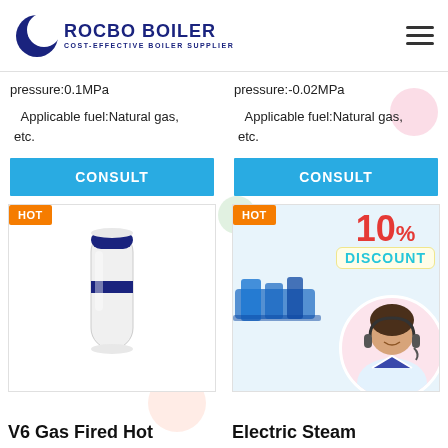[Figure (logo): Rocbo Boiler logo with crescent moon icon and text 'ROCBO BOILER - COST-EFFECTIVE BOILER SUPPLIER']
pressure:0.1MPa
pressure:-0.02MPa
Applicable fuel:Natural gas, etc.
Applicable fuel:Natural gas, etc.
CONSULT
CONSULT
HOT
HOT
[Figure (photo): V6 Gas Fired Hot Water Boiler - cylindrical white and blue boiler unit]
[Figure (photo): Electric Steam boiler product with 10% discount promotional overlay and customer service representative]
V6 Gas Fired Hot
Electric Steam